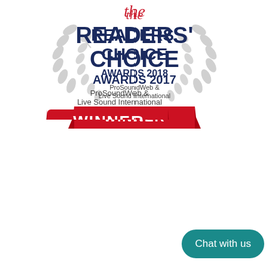[Figure (logo): Readers Choice Awards 2018 Winner badge from ProSoundWeb & Live Sound International, with laurel wreath, red banner reading WINNER]
[Figure (logo): Readers Choice Awards 2017 Winner badge from ProSoundWeb & Live Sound International, with laurel wreath, red banner reading WINNER, and a teal Chat with us button overlay]